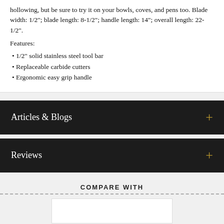hollowing, but be sure to try it on your bowls, coves, and pens too. Blade width: 1/2"; blade length: 8-1/2"; handle length: 14"; overall length: 22-1/2".
Features:
• 1/2" solid stainless steel tool bar
• Replaceable carbide cutters
• Ergonomic easy grip handle
Articles & Blogs
Reviews
COMPARE WITH